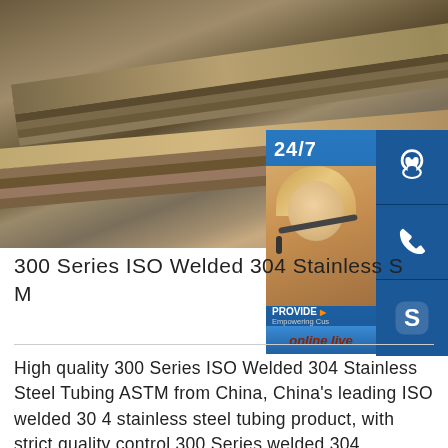[Figure (photo): Stack of stainless steel sheets/plates piled outdoors]
[Figure (infographic): 24/7 customer service widget with headset icon, phone icon, Skype icon, person with headset photo, PROVIDE Empowering Customers text, and online live button]
300 Series ISO Welded 304 Stainless S
M
High quality 300 Series ISO Welded 304 Stainless Steel Tubing ASTM from China, China's leading ISO welded 304 stainless steel tubing product, with strict quality control 300 Series welded 304 stainless steel tubing factories, producing sp.info China Welded Stainless Steel Pipes / Tubes Manufacturers 12 renu Hot Tag:welded stainless ste